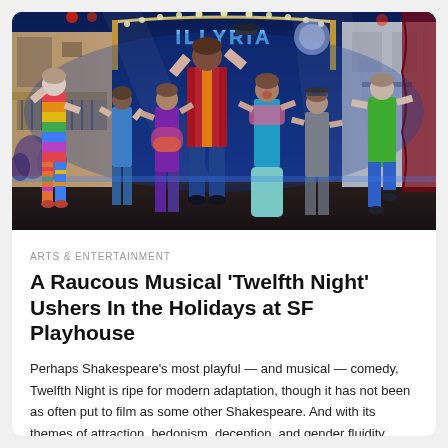[Figure (photo): A colorful theatrical production on stage. Multiple performers in vibrant costumes are dancing and celebrating on a stage set resembling a Mediterranean courtyard with string lights and an illuminated 'ILLYRIA' sign arch in the background lit in blue. Performers include a woman in striped rainbow jumpsuit on the left, a large man in red and orange coat center-back with arms raised, and others in eclectic colorful outfits.]
ARTS & ENTERTAINMENT
A Raucous Musical 'Twelfth Night' Ushers In the Holidays at SF Playhouse
Perhaps Shakespeare's most playful — and musical — comedy, Twelfth Night is ripe for modern adaptation, though it has not been as often put to film as some other Shakespeare. And with its themes of attraction, hedonism, deception, and gender fluidity, what's not to like?